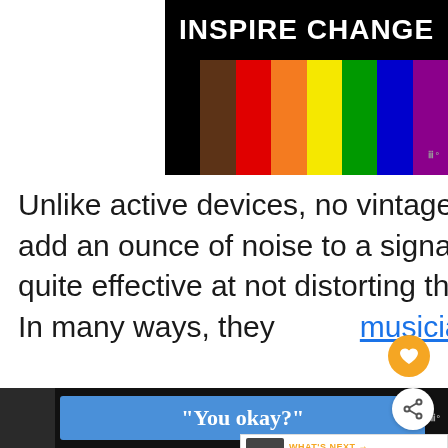[Figure (illustration): INSPIRE CHANGE banner with colorful vertical bars representing the inclusive pride flag colors on a black background]
Unlike active devices, no vintage ribbon microphone will add an ounce of noise to a signal. These devices are also quite effective at not distorting the signal in the slightest bit. In many ways, they are a musician's dream instrument.
[Figure (illustration): Bottom banner with You okay? text on blue background]